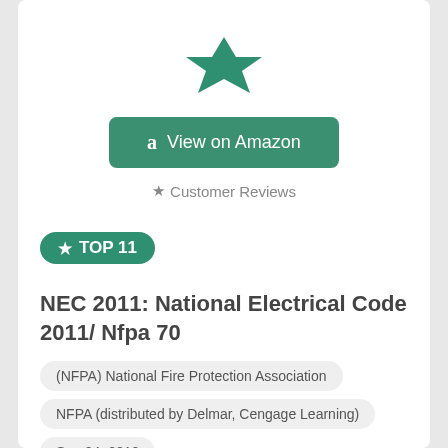[Figure (logo): Green star/arrow logo at top of card]
View on Amazon
★ Customer Reviews
★ TOP 11
NEC 2011: National Electrical Code 2011/ Nfpa 70
(NFPA) National Fire Protection Association
NFPA (distributed by Delmar, Cengage Learning)
Sep 24, 2010
[Figure (photo): NFPA 70 book cover with red circular logo on white background]